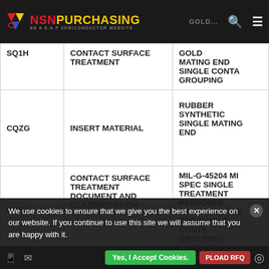NSN PURCHASING – AN A.S.A.P SEMICONDUCTOR WEBSITE
| Code | Description | Value |
| --- | --- | --- |
| SQ1H | CONTACT SURFACE TREATMENT | GOLD MATING END SINGLE CONTACT GROUPING |
| CQZG | INSERT MATERIAL | RUBBER SYNTHETIC SINGLE MATING END |
| CRBJ | CONTACT SURFACE TREATMENT DOCUMENT AND CLASSIFICATION | MIL-G-45204 MIL SPEC SINGLE TREATMENT RESPONSE SINGLE MATING END SINGLE CONTACT GROUPING |
We use cookies to ensure that we give you the best experience on our website. If you continue to use this site we will assume that you are happy with it.
Yes, I Accept Cookies.
UPLOAD RFQ